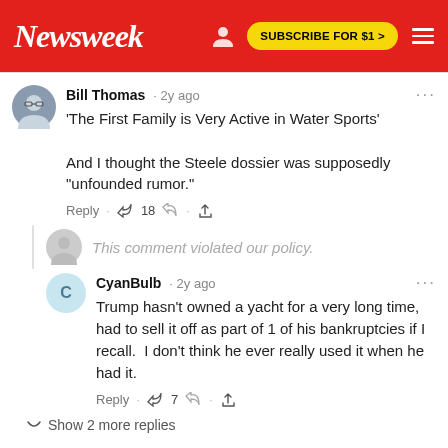Newsweek | SUBSCRIBE FOR $1 >
Bill Thomas · 2y ago
'The First Family is Very Active in Water Sports'

And I thought the Steele dossier was supposedly "unfounded rumor."

Reply · 18 ·
This comment violated our policy.
CyanBulb · 2y ago
Trump hasn't owned a yacht for a very long time, had to sell it off as part of 1 of his bankruptcies if I recall.  I don't think he ever really used it when he had it.

Reply · 7 ·
Show 2 more replies